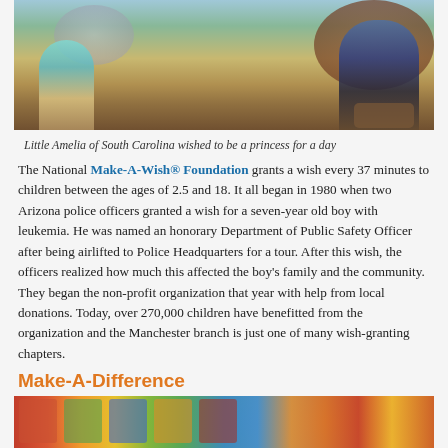[Figure (photo): Children dressed as princesses outdoors in a natural setting, partial view from above showing the lower half of the scene with sandy ground and autumn foliage]
Little Amelia of South Carolina wished to be a princess for a day
The National Make-A-Wish® Foundation grants a wish every 37 minutes to children between the ages of 2.5 and 18. It all began in 1980 when two Arizona police officers granted a wish for a seven-year old boy with leukemia. He was named an honorary Department of Public Safety Officer after being airlifted to Police Headquarters for a tour. After this wish, the officers realized how much this affected the boy's family and the community. They began the non-profit organization that year with help from local donations. Today, over 270,000 children have benefitted from the organization and the Manchester branch is just one of many wish-granting chapters.
Make-A-Difference
[Figure (photo): Colorful photo showing children or figures with bright colors, partially visible at the bottom of the page]